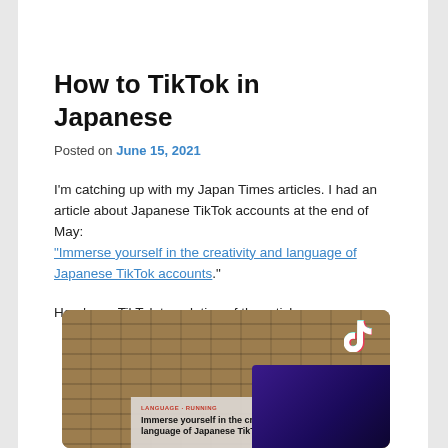How to TikTok in Japanese
Posted on June 15, 2021
I'm catching up with my Japan Times articles. I had an article about Japanese TikTok accounts at the end of May: “Immerse yourself in the creativity and language of Japanese TikTok accounts.”
Here’s my TikTok translation of the article:
[Figure (photo): Screenshot of a Japan Times article titled 'Immerse yourself in the creativity and language of Japanese TikTok accounts' shown on a TikTok video interface, with a brick wall background and TikTok logo visible in the upper right corner.]